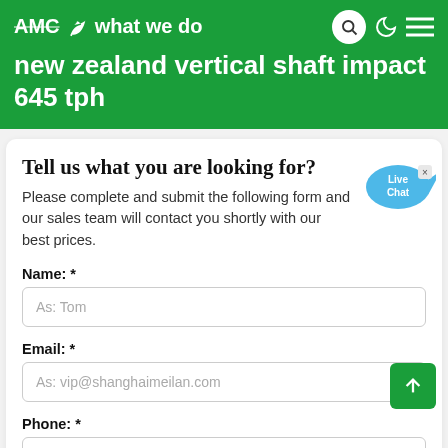AMC what we do
new zealand vertical shaft impact 645 tph
Tell us what you are looking for?
Please complete and submit the following form and our sales team will contact you shortly with our best prices.
Name: *
As: Tom
Email: *
As: vip@shanghaimeilan.com
Phone: *
With Country Code